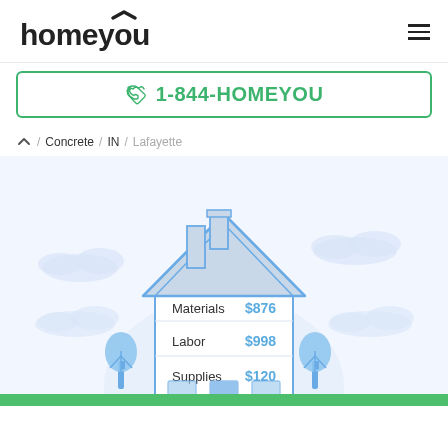homeyou
1-844-HOMEYOU
/ Concrete / IN / Lafayette
[Figure (illustration): Homeyou house illustration showing cost breakdown: Materials $876, Labor $998, Supplies $120. House with roof, chimney, trees, and blue sky clouds.]
| Category | Cost |
| --- | --- |
| Materials | $876 |
| Labor | $998 |
| Supplies | $120 |